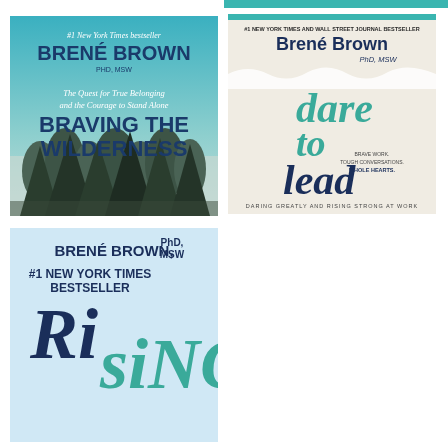[Figure (photo): Book cover of 'Braving the Wilderness' by Brené Brown PhD MSW. #1 New York Times bestseller. Subtitle: The Quest for True Belonging and the Courage to Stand Alone. Cover shows forest of pine trees against blue-green sky.]
[Figure (photo): Book cover of 'Dare to Lead' by Brené Brown PhD MSW. #1 New York Times and Wall Street Journal Bestseller. Tagline: Brave Work. Tough Conversations. Whole Hearts. Daring Greatly and Rising Strong at Work. Light beige cover with dark blue and teal text.]
[Figure (photo): Book cover of 'Rising Strong' by Brené Brown, PhD, MSW. #1 New York Times Bestseller. Light blue cover with large stylized title text.]